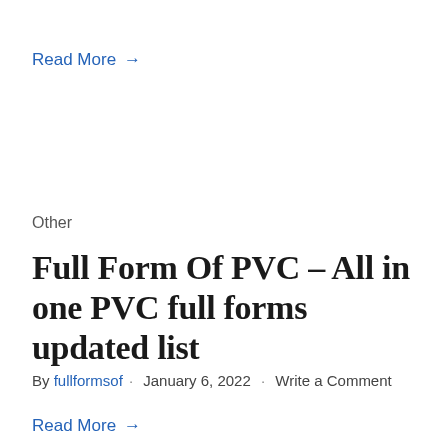Read More →
Other
Full Form Of PVC – All in one PVC full forms updated list
By fullformsof · January 6, 2022 · Write a Comment
Read More →